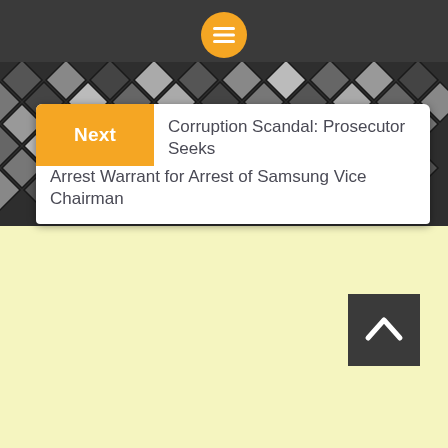[Figure (screenshot): Dark top navigation bar with orange circular menu button (hamburger icon) centered at top]
[Figure (screenshot): Diamond/checkered dark pattern background behind the news card]
Next  Corruption Scandal: Prosecutor Seeks Arrest Warrant for Arrest of Samsung Vice Chairman
[Figure (screenshot): Back to top arrow button, dark gray square with white upward chevron, bottom right area on light yellow background]